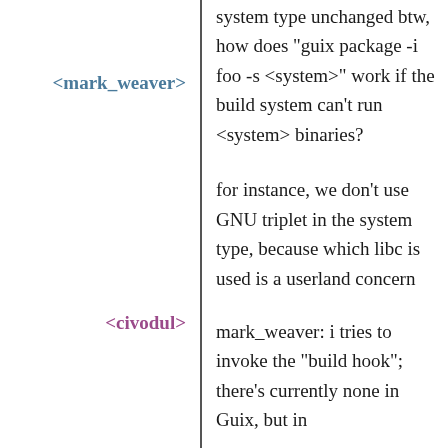system type unchanged
<mark_weaver>
btw, how does "guix package -i foo -s <system>" work if the build system can't run <system> binaries?
<civodul>
for instance, we don't use GNU triplet in the system type, because which libc is used is a userland concern
<civodul>
mark_weaver: i tries to invoke the "build hook"; there's currently none in Guix, but in